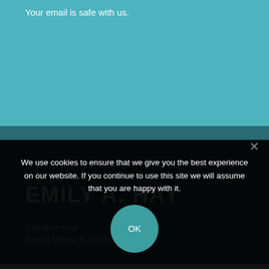Your email is safe with us.
EMILY A. HAY
Entrepreneur
Social Media Business Owner
We use cookies to ensure that we give you the best experience on our website. If you continue to use this site we will assume that you are happy with it.